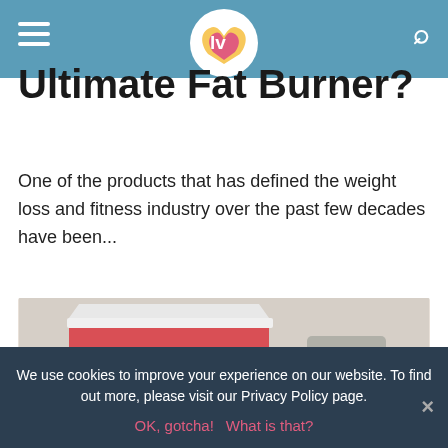LV logo, hamburger menu, search icon
Ultimate Fat Burner?
One of the products that has defined the weight loss and fitness industry over the past few decades have been...
[Figure (photo): Photo of Leanbean product: a red box labeled LEANBEAN THE FEMALE FAT BURNER with a heart logo, next to a glass bottle of Leanbean capsules with a silver lid.]
We use cookies to improve your experience on our website. To find out more, please visit our Privacy Policy page.
OK, gotcha!  What is that?